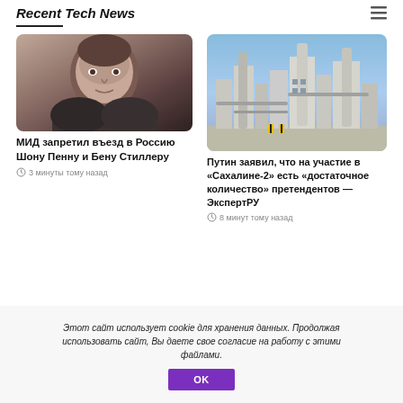Recent Tech News
[Figure (photo): Photo of a man (resembling Ben Stiller) in a dark jacket, close-up portrait shot]
МИД запретил въезд в Россию Шону Пенну и Бену Стиллеру
3 минуты тому назад
[Figure (photo): Photo of an industrial oil/gas refinery or processing plant with blue sky in background]
Путин заявил, что на участие в «Сахалине-2» есть «достаточное количество» претендентов — ЭкспертРУ
8 минут тому назад
Этот сайт использует cookie для хранения данных. Продолжая использовать сайт, Вы даете свое согласие на работу с этими файлами.